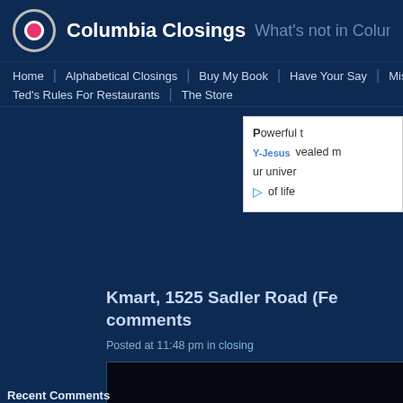Columbia Closings — What's not in Columbia a…
Home
Alphabetical Closings
Buy My Book
Have Your Say
Miss…
Ted's Rules For Restaurants
The Store
[Figure (screenshot): Advertisement with Y-Jesus logo and text: Powerful t[hing] vealed m[ight] ur univer[sally] of life]
Kmart, 1525 Sadler Road (Fe… comments
Posted at 11:48 pm in closing
[Figure (photo): Dark/black image, appears to be a nighttime photo]
Recent Comments